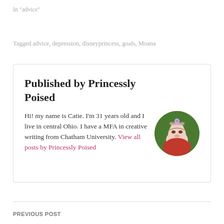In "advice"
Tagged advice, depression, disneyprincess, goals, Moana
Published by Princessly Poised
[Figure (photo): Circular photo of a woman wearing a princess crown, smiling, with hands on cheeks, wearing a red top, with green foliage in background]
Hi! my name is Catie. I'm 31 years old and I live in central Ohio. I have a MFA in creative writing from Chatham University. View all posts by Princessly Poised
PREVIOUS POST